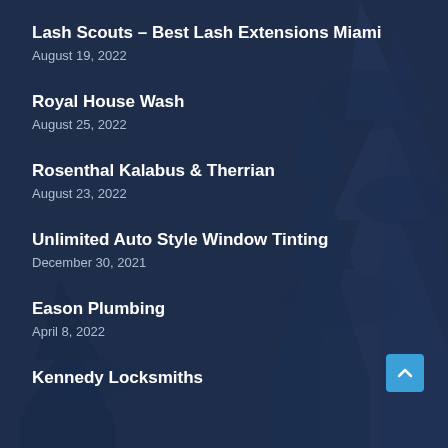Lash Scouts – Best Lash Extensions Miami
August 19, 2022
Royal House Wash
August 25, 2022
Rosenthal Kalabus & Therrian
August 23, 2022
Unlimited Auto Style Window Tinting
December 30, 2021
Eason Plumbing
April 8, 2022
Kennedy Locksmiths